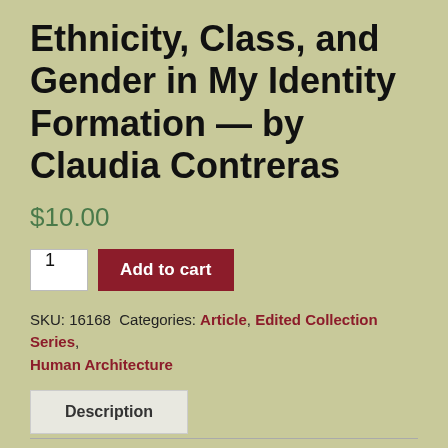Ethnicity, Class, and Gender in My Identity Formation — by Claudia Contreras
$10.00
1   Add to cart
SKU: 16168  Categories: Article, Edited Collection Series, Human Architecture
Description
Abstract